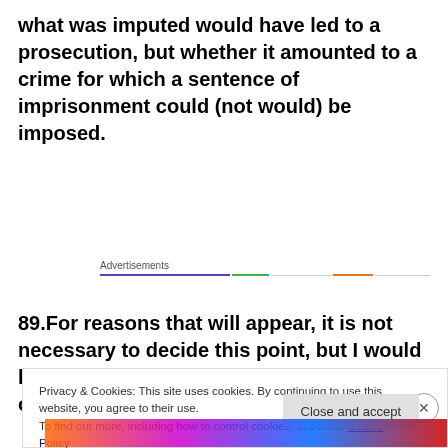what was imputed would have led to a prosecution, but whether it amounted to a crime for which a sentence of imprisonment could (not would) be imposed.
Advertisements
89.For reasons that will appear, it is not necessary to decide this point, but I would be inclined to accept the claimant's case on this issue. It may be that not all lies
Privacy & Cookies: This site uses cookies. By continuing to use this website, you agree to their use.
To find out more, including how to control cookies, see here: Cookie Policy
Close and accept